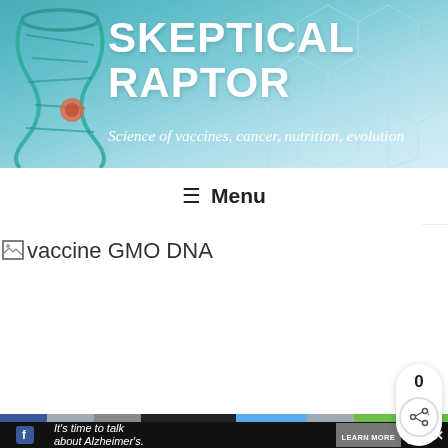SKEPTICAL RAPTOR
Science of vaccines, cancer, nutrition, evolution
≡ Menu
[Figure (screenshot): Broken image placeholder with alt text 'vaccine GMO DNA']
It's time to talk about Alzheimer's. LEARN MORE